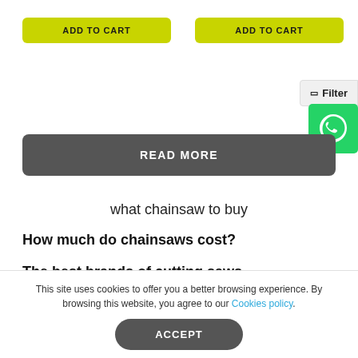ADD TO CART (button 1)
ADD TO CART (button 2)
Filter
[Figure (logo): WhatsApp icon on green circular background]
READ MORE
what chainsaw to buy
How much do chainsaws cost?
The best brands of cutting saws
This site uses cookies to offer you a better browsing experience. By browsing this website, you agree to our Cookies policy.
ACCEPT